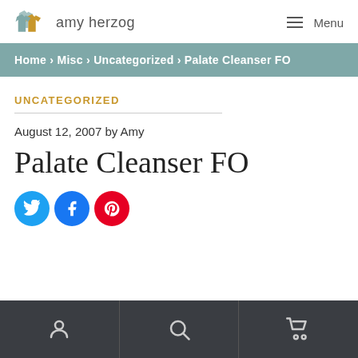amy herzog — Menu
Home › Misc › Uncategorized › Palate Cleanser FO
UNCATEGORIZED
August 12, 2007 by Amy
Palate Cleanser FO
[Figure (other): Social sharing icons: Twitter (blue), Facebook (blue), Pinterest (red) circular buttons]
Bottom toolbar with user account, search, and cart icons